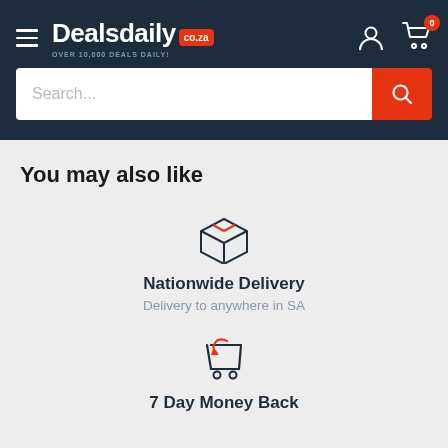[Figure (logo): Dealsdaily co.za logo with hamburger menu, user icon and cart icon with badge '0' on dark navy header]
[Figure (screenshot): Search bar with placeholder text 'Search...' and orange search button]
You may also like
[Figure (illustration): Box/package icon in dark navy outline with orange accent lines]
Nationwide Delivery
Delivery to anywhere in SA
[Figure (illustration): Shopping cart with return arrow icon in dark navy and orange]
7 Day Money Back